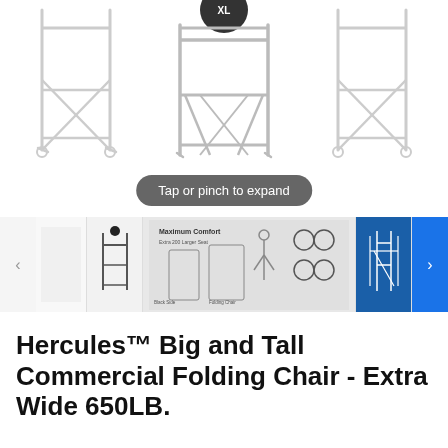[Figure (photo): Product image showing three views of a folding chair wireframe structure in white/chrome metal against white background, with a black ball/weight on top of the center chair]
Tap or pinch to expand
[Figure (photo): Thumbnail strip showing multiple product images of the folding chair including line drawing, side view, specifications/features panel showing Maximum Comfort text, and blue-background lifestyle image showing chair folded and unfolded]
Hercules™ Big and Tall Commercial Folding Chair - Extra Wide 650LB.